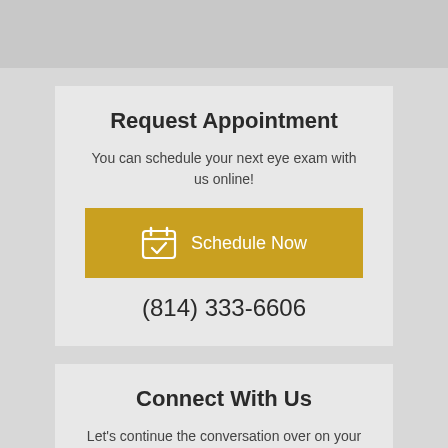Request Appointment
You can schedule your next eye exam with us online!
[Figure (other): Golden 'Schedule Now' button with calendar icon]
(814) 333-6606
Connect With Us
Let's continue the conversation over on your social network of choice.